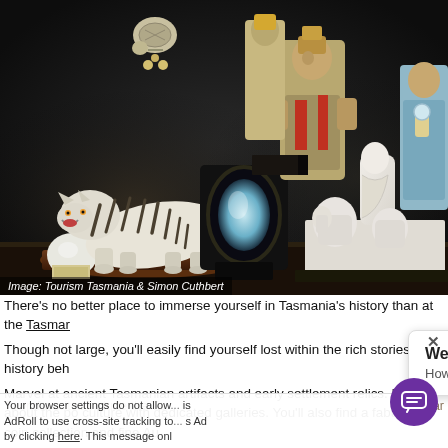[Figure (photo): Museum display showing a white tiger taxidermy model, marble statue group of figures, Asian decorative figurines, and other artifacts on dark display shelves.]
Image: Tourism Tasmania & Simon Cuthbert
There's no better place to immerse yourself in Tasmania's history than at the Tasmar
Though not large, you'll easily find yourself lost within the rich stories and history beh
Marvel at ancient Tasmanian artifacts and early settlement relics. Learn about the po culture with dedicated galleries. You'll also find a fabulous coin collection and fine Au
Town favorites include the Ta... ept ar
Your browser settings do not allow... is AdRoll to use cross-site tracking to... s Ad by clicking here. This message onl
We're Online! How may I help you today?